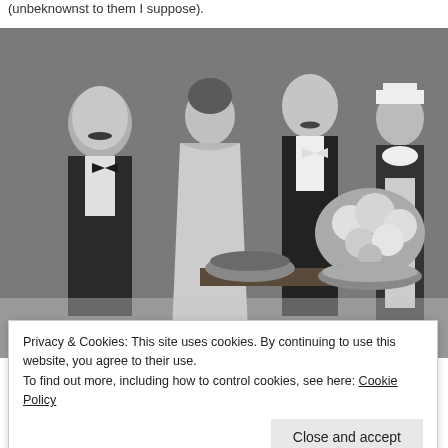(unbeknownst to them I suppose).
[Figure (photo): Black and white vintage film still showing four people — a man in a tuxedo on the left, a woman in an evening gown, a man in a white tie tuxedo in the center, and a maid in uniform on the right — standing around a table with a large floral arrangement and serving dishes.]
Privacy & Cookies: This site uses cookies. By continuing to use this website, you agree to their use.
To find out more, including how to control cookies, see here: Cookie Policy
Close and accept